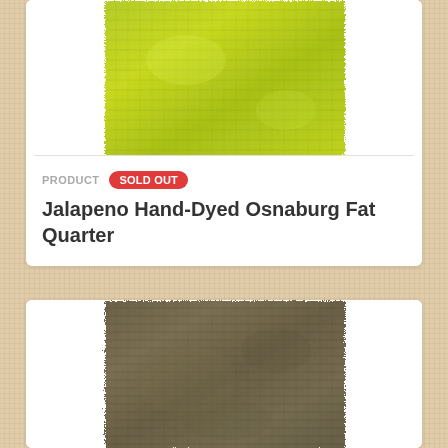[Figure (photo): Close-up of yellow-green (jalapeno) hand-dyed osnaburg fabric texture, showing woven textile with bright lime-green coloring]
PRODUCT  SOLD OUT
Jalapeno Hand-Dyed Osnaburg Fat Quarter
[Figure (photo): Close-up of dark olive/brown hand-dyed osnaburg fabric texture, showing woven textile with muted earthy tones]